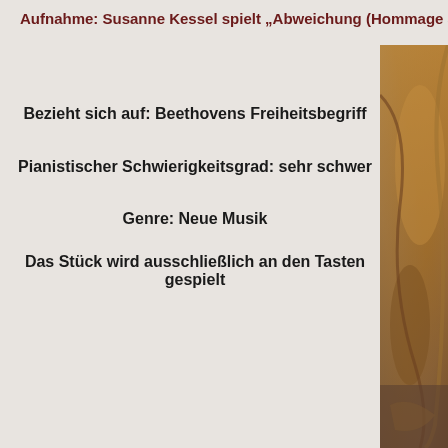Aufnahme: Susanne Kessel spielt „Abweichung (Hommage a
Bezieht sich auf: Beethovens Freiheitsbegriff
Pianistischer Schwierigkeitsgrad: sehr schwer
Genre: Neue Musik
Das Stück wird ausschließlich an den Tasten gespielt
[Figure (photo): Partial view of a violin or string instrument, golden/brown tones, cropped on right edge]